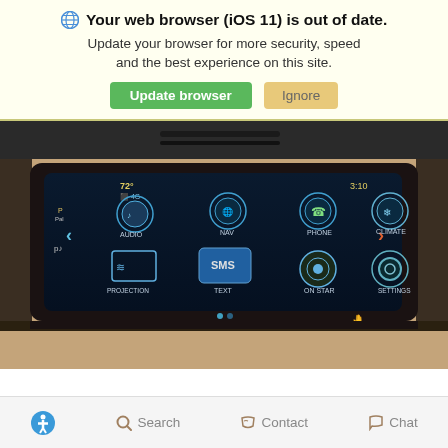🌐 Your web browser (iOS 11) is out of date. Update your browser for more security, speed and the best experience on this site.
Update browser | Ignore
[Figure (photo): Car infotainment touchscreen showing audio, nav, phone, climate, projection, text (SMS), OnStar, and settings icons with volume control below]
Search  Contact  Chat